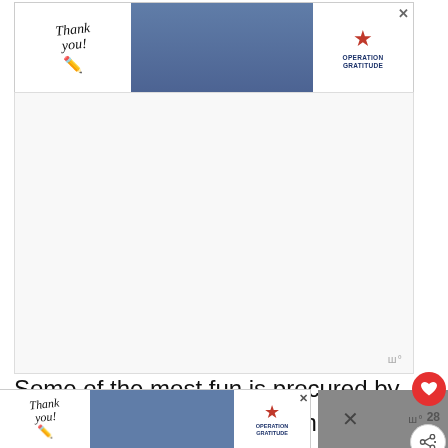[Figure (other): Operation Gratitude advertisement banner with 'Thank You' handwritten text, pencil graphic, firefighters photo, and Operation Gratitude logo with star]
[Figure (other): Large advertisement area placeholder]
Some of the most fun is procured by playing with the touchscreen display. Indeed, all the performance commands to help you get the most out of the Redeye are reachable by clicking “Apps” on the screen. From the you’ll find various “race options,” in line lock, launch control, chiller, shift light,
[Figure (other): Operation Gratitude advertisement banner at bottom with 'Thank You' handwritten text and Operation Gratitude logo]
[Figure (other): Dark gray panel with close X button and wordmark icons]